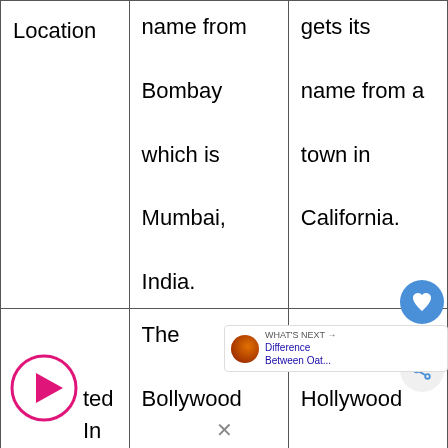| Location | name from
Bombay
which is
Mumbai,
India. | gets its
name from a
town in
California. |
| [Play icon] ted In | The
Bollywood
Film
industry was
started in | The
Hollywood
Film
indi
startea in |